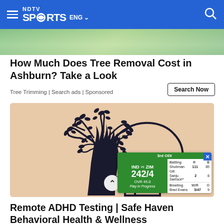NDTV SPORTS ENG
[Figure (photo): Partial image strip at top, appears to be outdoor scene]
How Much Does Tree Removal Cost in Ashburn? Take a Look
Tree Trimming | Search ads | Sponsored
[Figure (illustration): Illustration of a human head silhouette with a tree growing inside forming the brain shape, on a pinkish-beige background. Overlaid cricket score widget showing 3rd ODI, IND vs ZIM, 242/4, OVR 45.0, Play in Progress, Batting: Shubman Gill 111 85, Sanju Samson* 2 8, Bowling W/R G, Brad Evans 3/47 9]
Remote ADHD Testing | Safe Haven Behavioral Health & Wellness